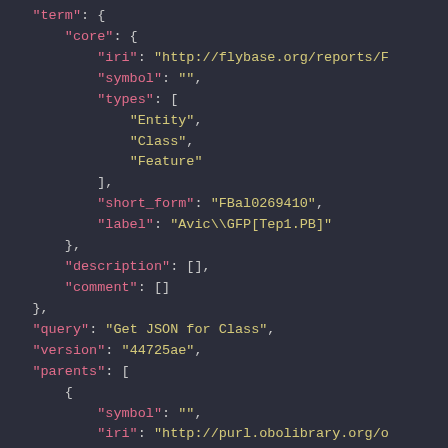JSON code block showing term, query, version, parents fields with keys and values